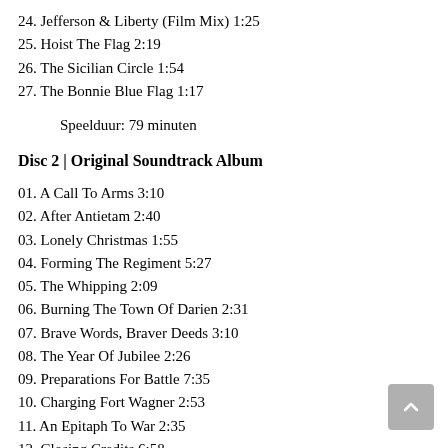24. Jefferson & Liberty (Film Mix) 1:25
25. Hoist The Flag 2:19
26. The Sicilian Circle 1:54
27. The Bonnie Blue Flag 1:17
Speelduur: 79 minuten
Disc 2 | Original Soundtrack Album
01. A Call To Arms 3:10
02. After Antietam 2:40
03. Lonely Christmas 1:55
04. Forming The Regiment 5:27
05. The Whipping 2:09
06. Burning The Town Of Darien 2:31
07. Brave Words, Braver Deeds 3:10
08. The Year Of Jubilee 2:26
09. Preparations For Battle 7:35
10. Charging Fort Wagner 2:53
11. An Epitaph To War 2:35
12. Closing Credits 6:58